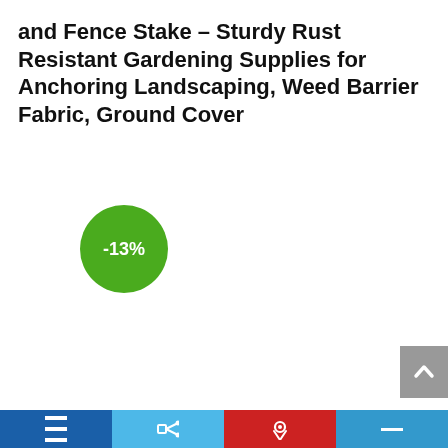and Fence Stake – Sturdy Rust Resistant Gardening Supplies for Anchoring Landscaping, Weed Barrier Fabric, Ground Cover
[Figure (infographic): A green circular badge/discount label showing '-13%' in white bold text]
[Figure (infographic): A grey back-to-top button with an upward-pointing chevron arrow in white]
Bottom navigation bar with four segments: dark blue (menu icon), light blue (share icon), red (circle/pin icon), mid blue (dash icon)